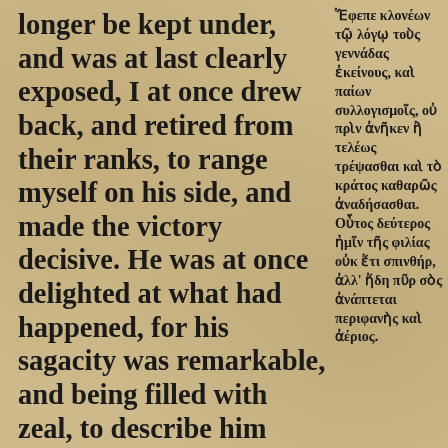longer be kept under, and was at last clearly exposed, I at once drew back, and retired from their ranks, to range myself on his side, and made the victory decisive. He was at once delighted at what had happened, for his sagacity was remarkable, and being filled with zeal, to describe him fully in Homer's language, he pursued in confusion²⁴ with argument those valiant youths, and
Ἔφεπε κλονέων τῷ λόγῳ τοὺς γεννάδας ἐκείνους, καὶ παίων συλλογισμοῖς, οὐ πρὶν ἀνῆκεν ἢ τελέως τρέψασθαι καὶ τὸ κράτος καθαρῶς ἀναδήσασθαι. Οὗτος δεύτερος ἡμῖν τῆς φιλίας οὐκ ἔτι σπινθήρ, ἀλλ' ἤδη πῦρ σὸς ἀνάπτεται περιφανὴς καὶ ἀέριος.